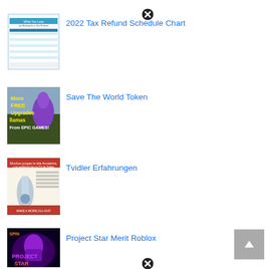[Figure (screenshot): Thumbnail image: 2022 Tax Refund Schedule Chart document preview]
2022 Tax Refund Schedule Chart
[Figure (illustration): Close/cancel button (X circle icon) near top]
[Figure (screenshot): Thumbnail image: Save The World Token - More FREE Upgrades llamas From EPIC GAMES!]
Save The World Token
[Figure (screenshot): Thumbnail image: Tvidler Erfahrungen product page]
Tvidler Erfahrungen
[Figure (screenshot): Thumbnail image: Project Star Merit Roblox game graphic]
Project Star Merit Roblox
[Figure (illustration): Close/cancel button (X circle icon) near bottom]
[Figure (illustration): Scroll to top button (grey square with up arrow)]